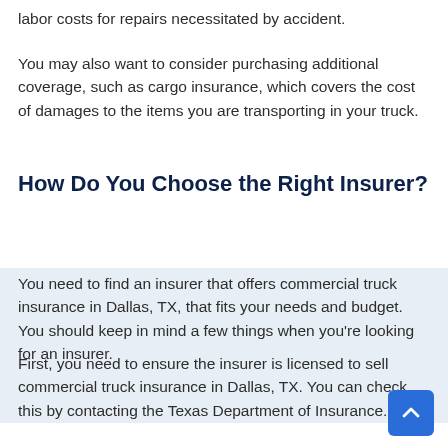labor costs for repairs necessitated by accident.
You may also want to consider purchasing additional coverage, such as cargo insurance, which covers the cost of damages to the items you are transporting in your truck.
How Do You Choose the Right Insurer?
You need to find an insurer that offers commercial truck insurance in Dallas, TX, that fits your needs and budget. You should keep in mind a few things when you're looking for an insurer.
First, you need to ensure the insurer is licensed to sell commercial truck insurance in Dallas, TX. You can check this by contacting the Texas Department of Insurance.